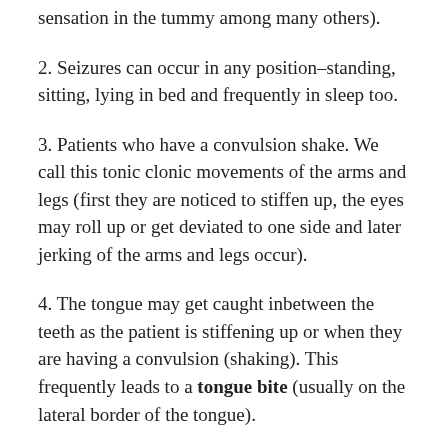sensation in the tummy among many others).
2. Seizures can occur in any position–standing, sitting, lying in bed and frequently in sleep too.
3. Patients who have a convulsion shake. We call this tonic clonic movements of the arms and legs (first they are noticed to stiffen up, the eyes may roll up or get deviated to one side and later jerking of the arms and legs occur).
4. The tongue may get caught inbetween the teeth as the patient is stiffening up or when they are having a convulsion (shaking). This frequently leads to a tongue bite (usually on the lateral border of the tongue).
5. When the patient stiffens up, the muscles of the